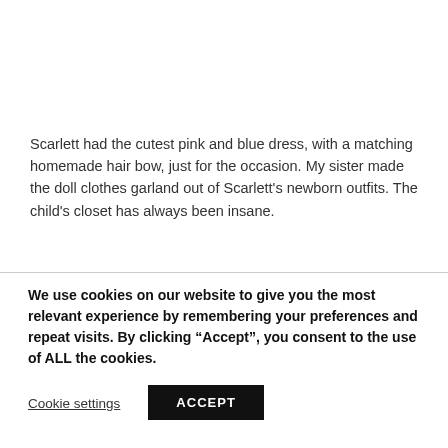Scarlett had the cutest pink and blue dress, with a matching homemade hair bow, just for the occasion. My sister made the doll clothes garland out of Scarlett's newborn outfits. The child's closet has always been insane.
We use cookies on our website to give you the most relevant experience by remembering your preferences and repeat visits. By clicking “Accept”, you consent to the use of ALL the cookies.
Cookie settings
ACCEPT